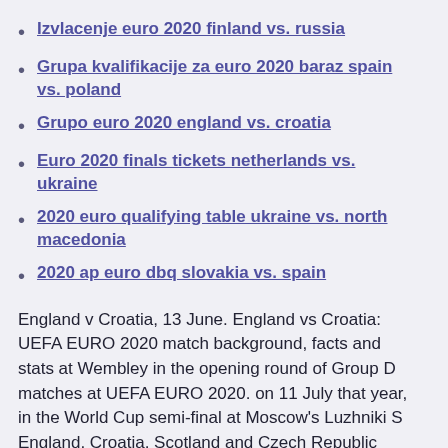Izvlacenje euro 2020 finland vs. russia
Grupa kvalifikacije za euro 2020 baraz spain vs. poland
Grupo euro 2020 england vs. croatia
Euro 2020 finals tickets netherlands vs. ukraine
2020 euro qualifying table ukraine vs. north macedonia
2020 ap euro dbq slovakia vs. spain
England v Croatia, 13 June. England vs Croatia: UEFA EURO 2020 match background, facts and stats at Wembley in the opening round of Group D matches at UEFA EURO 2020. on 11 July that year, in the World Cup semi-final at Moscow's Luzhniki S England, Croatia, Scotland and Czech Republic make up Group D. What